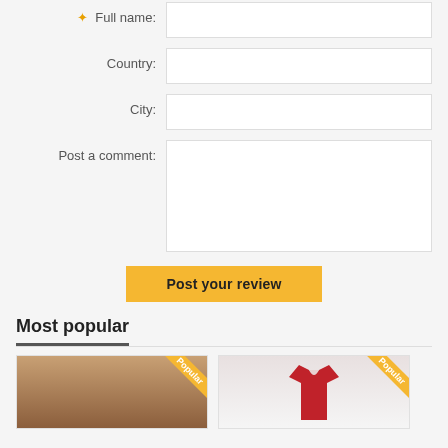Full name:
Country:
City:
Post a comment:
Post your review
Most popular
[Figure (photo): Product card with Popular badge - wooden photo frame]
[Figure (photo): Product card with Popular badge - red sleeveless top]